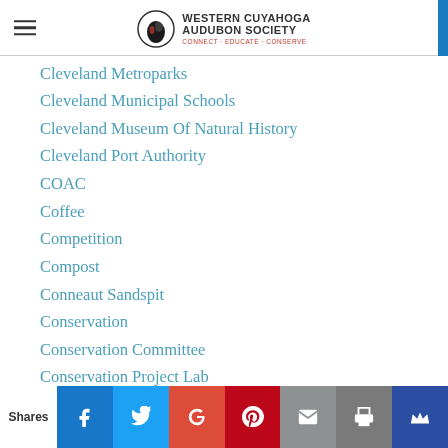Western Cuyahoga Audubon Society — Connect · Educate · Conserve
Cleveland Metroparks
Cleveland Municipal Schools
Cleveland Museum Of Natural History
Cleveland Port Authority
COAC
Coffee
Competition
Compost
Conneaut Sandspit
Conservation
Conservation Committee
Conservation Project Lab
Conservation Projects
Contest
Contests
Shares | Facebook | Twitter | Google+ | Pinterest | Email | Print | Crown